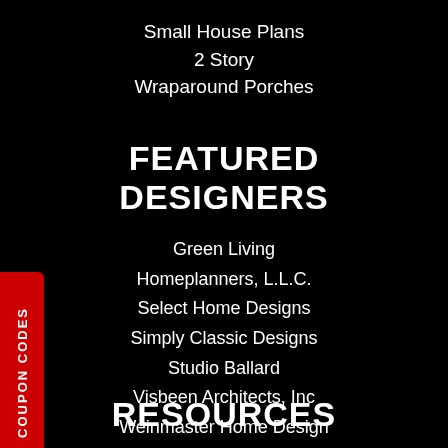Small House Plans
2 Story
Wraparound Porches
FEATURED DESIGNERS
Green Living
Homeplanners, L.L.C.
Select Home Designs
Simply Classic Designs
Studio Ballard
Visbeen Architects, Inc
Weinmaster Home Design
RESOURCES
COUPON CODES